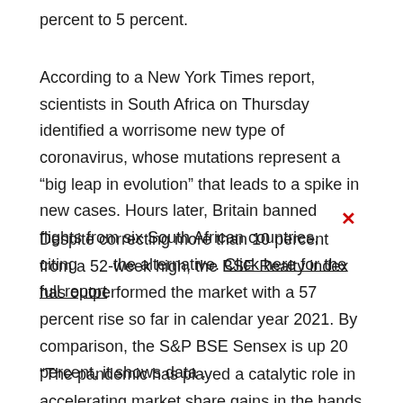percent to 5 percent.
According to a New York Times report, scientists in South Africa on Thursday identified a worrisome new type of coronavirus, whose mutations represent a “big leap in evolution” that leads to a spike in new cases. Hours later, Britain banned flights from six South African countries, citing the alternative. Click here for the full report
Despite correcting more than 10 percent from a 52-week high, the BSE Realty index has outperformed the market with a 57 percent rise so far in calendar year 2021. By comparison, the S&P BSE Sensex is up 20 percent, it shows data .
“The pandemic has played a catalytic role in accelerating market share gains in the hands of regulated real estate